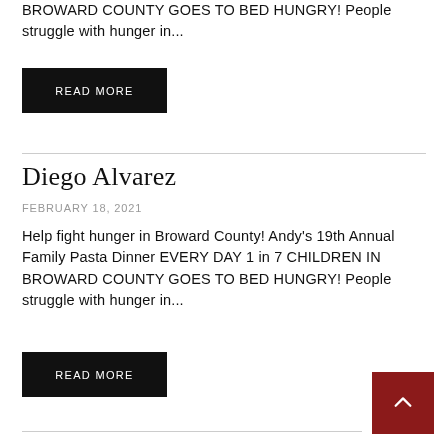BROWARD COUNTY GOES TO BED HUNGRY! People struggle with hunger in...
READ MORE
Diego Alvarez
FEBRUARY 18, 2021
Help fight hunger in Broward County! Andy's 19th Annual Family Pasta Dinner EVERY DAY 1 in 7 CHILDREN IN BROWARD COUNTY GOES TO BED HUNGRY! People struggle with hunger in...
READ MORE